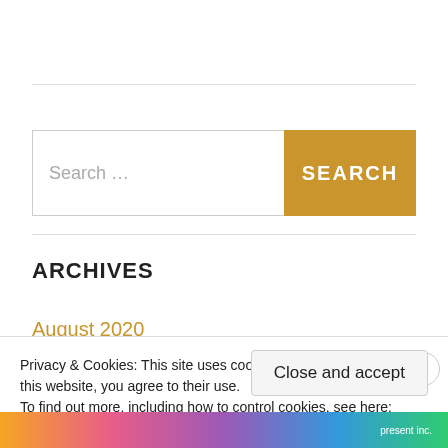Search ...
SEARCH
ARCHIVES
August 2020
Privacy & Cookies: This site uses cookies. By continuing to use this website, you agree to their use.
To find out more, including how to control cookies, see here: Cookie Policy
Close and accept